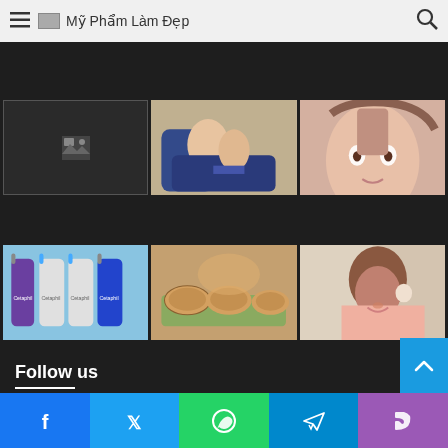Mỹ Phẩm Làm Đẹp
[Figure (photo): Dark placeholder with small broken image icon]
[Figure (photo): Person sitting in massage chair]
[Figure (photo): Close-up of Asian woman face]
[Figure (photo): Cetaphil product lineup on blue background]
[Figure (photo): Round food items held in hand]
[Figure (photo): Woman smiling holding cotton pad]
Follow us
Facebook Twitter WhatsApp Telegram Phone